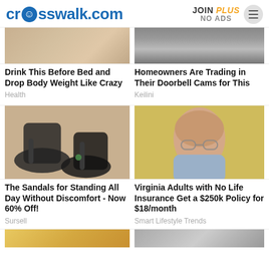crosswalk.com | JOIN PLUS NO ADS
[Figure (screenshot): Crosswalk.com logo with walker icon]
JOIN PLUS NO ADS
[Figure (photo): Top portion of an image, partially visible]
[Figure (photo): Top portion of an image, partially visible]
Drink This Before Bed and Drop Body Weight Like Crazy
Homeowners Are Trading in Their Doorbell Cams for This
Health
Keilini
[Figure (photo): Close-up photo of sandals on feet with ankle straps]
[Figure (photo): Photo of an elderly man with glasses]
The Sandals for Standing All Day Without Discomfort - Now 60% Off!
Virginia Adults with No Life Insurance Get a $250k Policy for $18/month
Sursell
Smart Lifestyle Trends
[Figure (photo): Partially visible image at bottom left]
[Figure (photo): Partially visible image at bottom right]